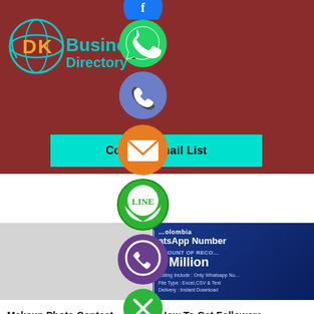[Figure (logo): DK Business Directory logo with globe icon in cyan/orange on dark red background]
[Figure (infographic): Column of social media share buttons: Facebook (blue, top partial), WhatsApp (green), Phone/Call (blue-purple), Email (orange), LINE (green), Viber (purple), Close X (green) overlaying the page]
Country Email List
[Figure (screenshot): Colombia WhatsApp Number listing card showing AMOUNT OF RECORDS: 1 Million, Listing Include: Only Whatsapp Nu, File Type: Excel,CSV & Text, Delivery: Instant Download]
Published March 27, 2022
Makeup Photo Contest
Published March 27, 2022
How To Get Followers